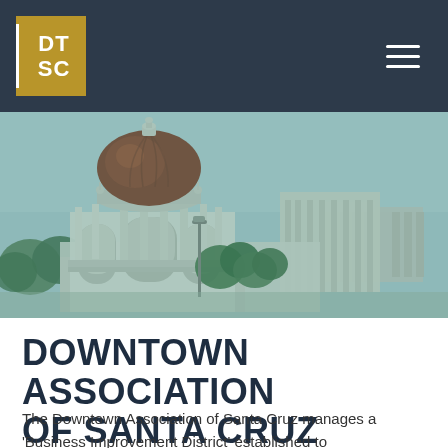DT SC
[Figure (photo): Aerial view of downtown Santa Cruz showing a historic domed rotunda building with terracotta dome, white columns, and surrounding cityscape with trees and classical architecture, overlaid with a teal/green tint.]
DOWNTOWN ASSOCIATION OF SANTA CRUZ
The Downtown Association of Santa Cruz manages a 'Business Improvement District' established to